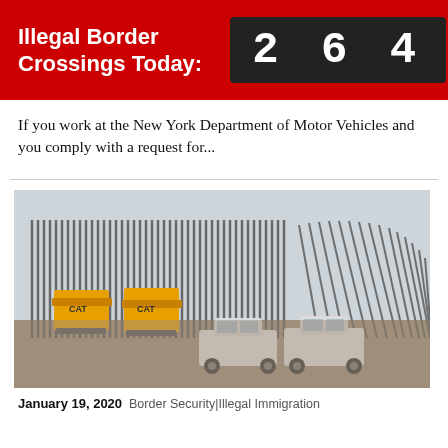Illegal Border Crossings Today: 264
If you work at the New York Department of Motor Vehicles and you comply with a request for...
[Figure (photo): Construction site showing border fence/wall being built, with Caterpillar heavy equipment and white pickup trucks on dirt ground, under overcast sky.]
January 19, 2020  Border Security|Illegal Immigration